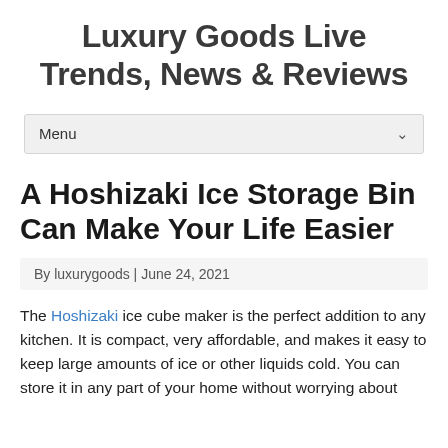Luxury Goods Live Trends, News & Reviews
Menu
A Hoshizaki Ice Storage Bin Can Make Your Life Easier
By luxurygoods | June 24, 2021
The Hoshizaki ice cube maker is the perfect addition to any kitchen. It is compact, very affordable, and makes it easy to keep large amounts of ice or other liquids cold. You can store it in any part of your home without worrying about